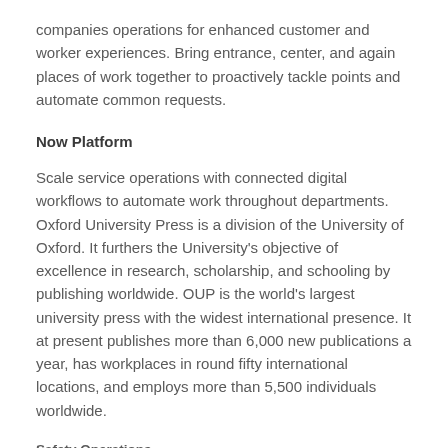companies operations for enhanced customer and worker experiences. Bring entrance, center, and again places of work together to proactively tackle points and automate common requests.
Now Platform
Scale service operations with connected digital workflows to automate work throughout departments. Oxford University Press is a division of the University of Oxford. It furthers the University's objective of excellence in research, scholarship, and schooling by publishing worldwide. OUP is the world's largest university press with the widest international presence. It at present publishes more than 6,000 new publications a year, has workplaces in round fifty international locations, and employs more than 5,500 individuals worldwide.
Safety Operations